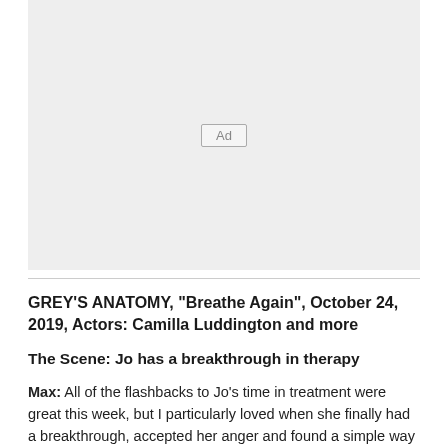[Figure (other): Advertisement placeholder box with 'Ad' label in center]
GREY'S ANATOMY, "Breathe Again", October 24, 2019, Actors: Camilla Luddington and more
The Scene: Jo has a breakthrough in therapy
Max: All of the flashbacks to Jo's time in treatment were great this week, but I particularly loved when she finally had a breakthrough, accepted her anger and found a simple way to